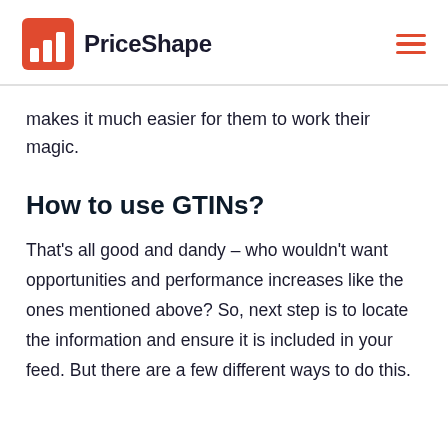PriceShape
makes it much easier for them to work their magic.
How to use GTINs?
That's all good and dandy – who wouldn't want opportunities and performance increases like the ones mentioned above? So, next step is to locate the information and ensure it is included in your feed. But there are a few different ways to do this.